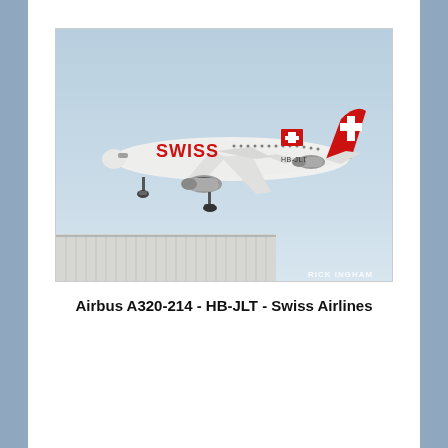[Figure (photo): Photo of a Swiss Airlines Airbus A320-214 aircraft with registration HB-JLT in flight, showing white fuselage with red SWISS lettering, red tail with Swiss cross, landing gear extended, against a light blue sky, with a building rooftop visible at bottom. Photographer credit: RICK INGHAM.]
Airbus A320-214 - HB-JLT - Swiss Airlines